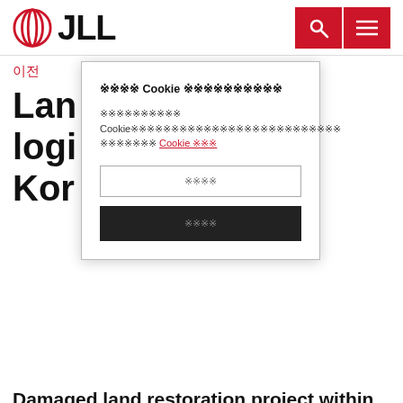JLL
이전
Land logistics Kore
[Figure (screenshot): Cookie consent modal dialog with text in Korean/Japanese characters, two buttons: outline button and black filled button]
Damaged land restoration project within the green belt attracts attention as an alternative